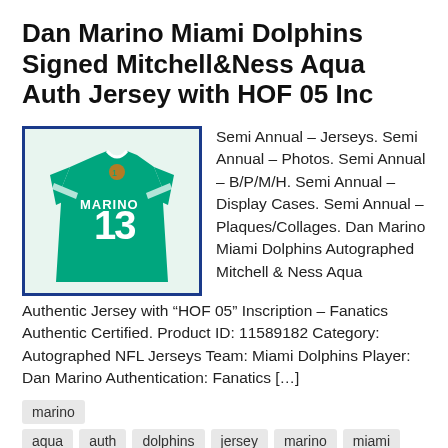Dan Marino Miami Dolphins Signed Mitchell&Ness Aqua Auth Jersey with HOF 05 Inc
[Figure (photo): Miami Dolphins jersey with number 13 and name MARINO, teal/aqua color, Mitchell & Ness authentic jersey photo thumbnail with blue border]
Semi Annual – Jerseys. Semi Annual – Photos. Semi Annual – B/P/M/H. Semi Annual – Display Cases. Semi Annual – Plaques/Collages. Dan Marino Miami Dolphins Autographed Mitchell & Ness Aqua Authentic Jersey with “HOF 05” Inscription – Fanatics Authentic Certified. Product ID: 11589182 Category: Autographed NFL Jerseys Team: Miami Dolphins Player: Dan Marino Authentication: Fanatics […]
marino
aqua
auth
dolphins
jersey
marino
miami
mitchellness
signed